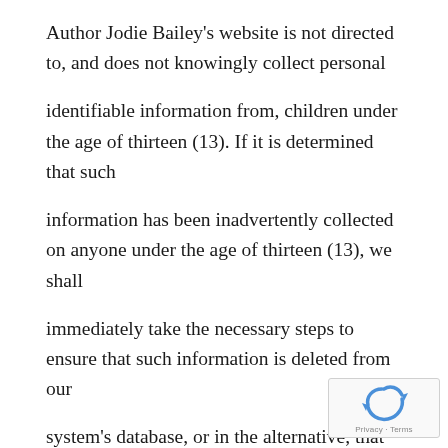Author Jodie Bailey's website is not directed to, and does not knowingly collect personal identifiable information from, children under the age of thirteen (13). If it is determined that such information has been inadvertently collected on anyone under the age of thirteen (13), we shall immediately take the necessary steps to ensure that such information is deleted from our system's database, or in the alternative, that verifiable parental consent is obtained for the use